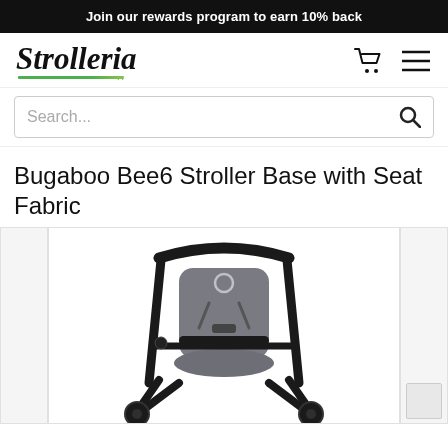Join our rewards program to earn 10% back
[Figure (logo): Strolleria logo in italic script font with green underline and dots]
Search...
Bugaboo Bee6 Stroller Base with Seat Fabric
[Figure (photo): Bugaboo Bee6 stroller base with grey seat fabric, black frame, photographed from front-side angle on white background]